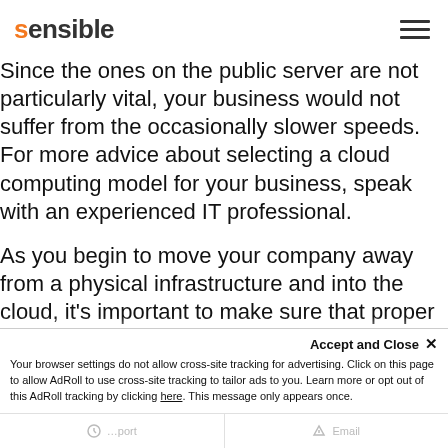sensible
Since the ones on the public server are not particularly vital, your business would not suffer from the occasionally slower speeds. For more advice about selecting a cloud computing model for your business, speak with an experienced IT professional.
As you begin to move your company away from a physical infrastructure and into the cloud, it's important to make sure that proper security policies are in place. While you may have a general information security policy, don't think that absolves your organisation from the need for a specific cloud security policy. The dangers that come along with using cloud software or infrastructure are very different...
Accept and Close ✕ Your browser settings do not allow cross-site tracking for advertising. Click on this page to allow AdRoll to use cross-site tracking to tailor ads to you. Learn more or opt out of this AdRoll tracking by clicking here. This message only appears once.